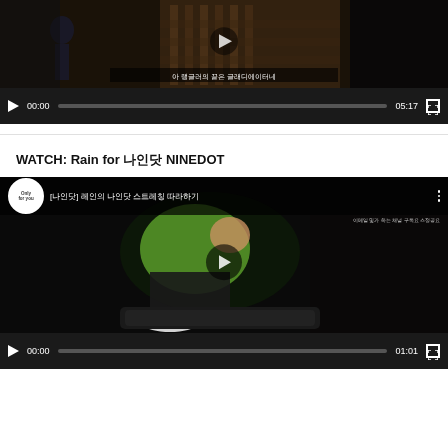[Figure (screenshot): Video player showing a person in a plaid jacket with Korean subtitle text '아 랭글러의 끝은 글래디에이터네', controls showing 00:00 / 05:17]
WATCH: Rain for 나인닷 NINEDOT
[Figure (screenshot): YouTube video player showing a person in green workout clothes exercising, with Korean title text and 'Only for you' channel logo, controls showing 00:00 / 01:01]